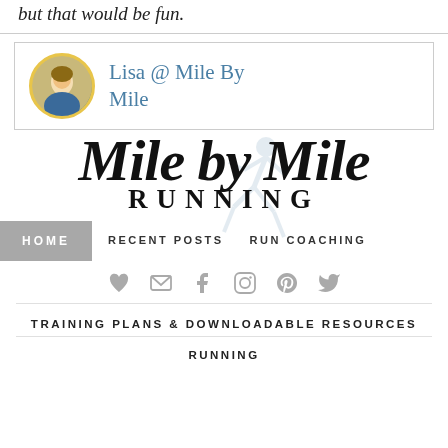but that would be fun.
[Figure (screenshot): Author box with circular avatar photo of a woman and name 'Lisa @ Mile By Mile' in teal/blue text]
[Figure (logo): Mile by Mile Running blog logo with script 'Mile by Mile' text and 'RUNNING' in spaced serif capitals, with faint runner silhouette watermark]
HOME   RECENT POSTS   RUN COACHING
[Figure (infographic): Social media icons row: heart, email, facebook, instagram, pinterest, twitter]
TRAINING PLANS & DOWNLOADABLE RESOURCES
RUNNING